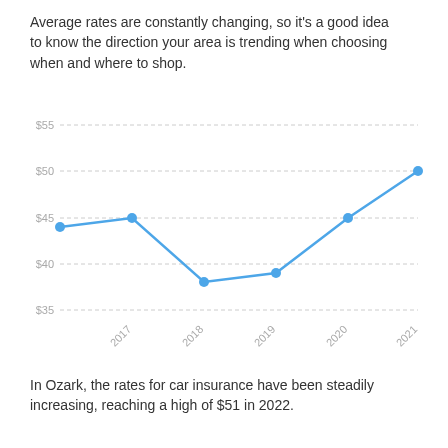Average rates are constantly changing, so it's a good idea to know the direction your area is trending when choosing when and where to shop.
[Figure (line-chart): ]
In Ozark, the rates for car insurance have been steadily increasing, reaching a high of $51 in 2022.